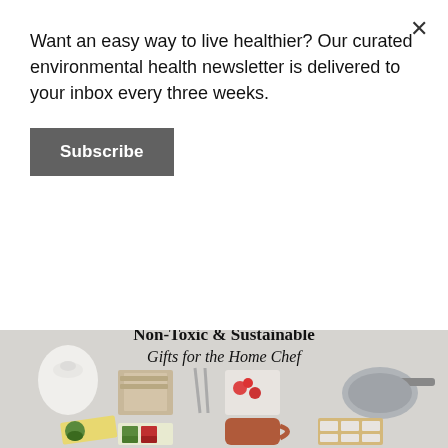Want an easy way to live healthier? Our curated environmental health newsletter is delivered to your inbox every three weeks.
Subscribe
[Figure (photo): Collage image showing non-toxic and sustainable kitchen gifts for the home chef including cookware, mugs, beeswax wraps, reusable bags, cutting boards, and utensils on a light gray background with title text 'Non-Toxic & Sustainable Gifts for the Home Chef']